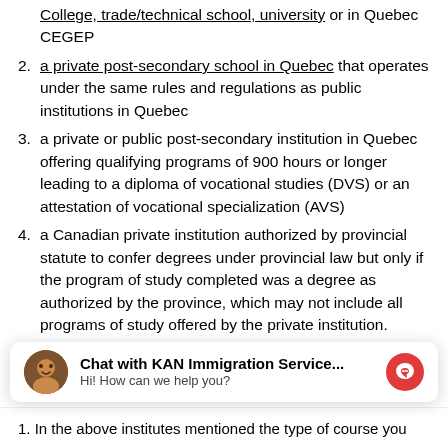College, trade/technical school, university or in Quebec CEGEP
a private post-secondary school in Quebec that operates under the same rules and regulations as public institutions in Quebec
a private or public post-secondary institution in Quebec offering qualifying programs of 900 hours or longer leading to a diploma of vocational studies (DVS) or an attestation of vocational specialization (AVS)
a Canadian private institution authorized by provincial statute to confer degrees under provincial law but only if the program of study completed was a degree as authorized by the province, which may not include all programs of study offered by the private institution.
[Figure (other): Chat widget for KAN Immigration Service with avatar, title 'Chat with KAN Immigration Service...', subtitle 'Hi! How can we help you?' and a red messenger icon button.]
In the above institutes mentioned the type of course you